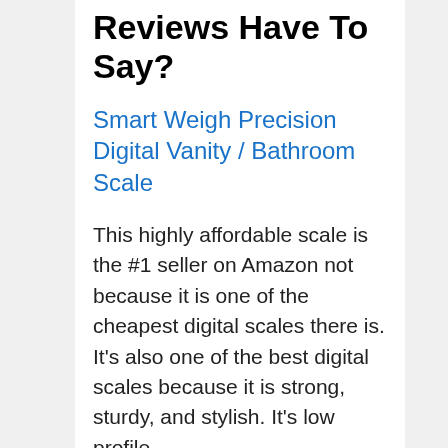Reviews Have To Say?
Smart Weigh Precision Digital Vanity / Bathroom Scale
This highly affordable scale is the #1 seller on Amazon not because it is one of the cheapest digital scales there is. It's also one of the best digital scales because it is strong, sturdy, and stylish. It's low profile